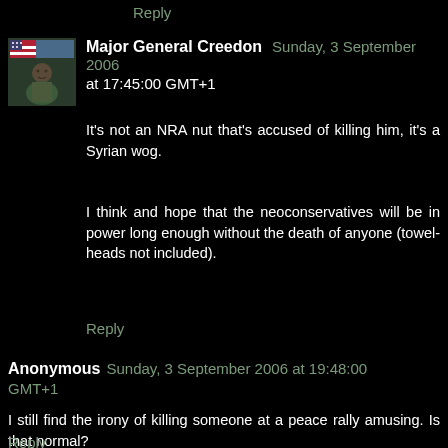Reply
Major General Creedon   Sunday, 3 September 2006 at 17:45:00 GMT+1
It's not an NRA nut that's accused of killing him, it's a Syrian wog.
I think and hope that the neoconservatives will be in power long enough without the death of anyone (towel-heads not included).
Reply
Anonymous  Sunday, 3 September 2006 at 19:48:00 GMT+1
I still find the irony of killing someone at a peace rally amusing. Is that normal?
Reply